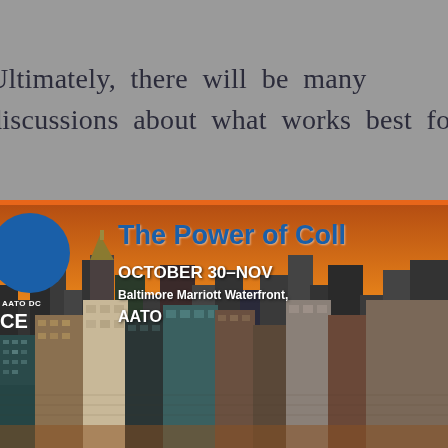Ultimately, there will be many discussions about what works best for
[Figure (photo): Conference banner showing Baltimore city skyline at sunset with orange sky. Overlaid text reads: 'The Power of Coll[aboration]', 'OCTOBER 30–NO[V...]', 'Baltimore Marriott Waterfront,', 'AATO[...]'. A blue circular logo is on the left side with 'CE' text below it.]